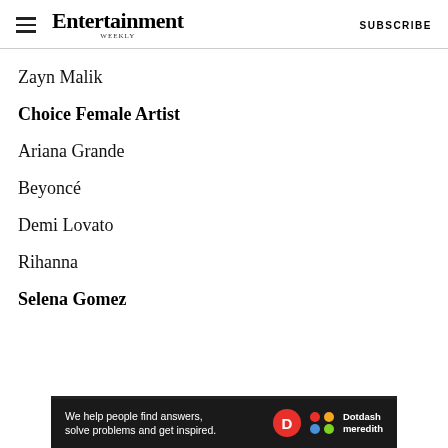Entertainment Weekly — SUBSCRIBE
Zayn Malik
Choice Female Artist
Ariana Grande
Beyoncé
Demi Lovato
Rihanna
Selena Gomez
[Figure (advertisement): Dotdash Meredith advertisement: We help people find answers, solve problems and get inspired.]